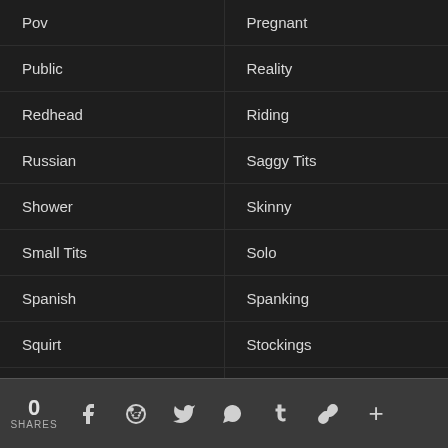Pov
Pregnant
Public
Reality
Redhead
Riding
Russian
Saggy Tits
Shower
Skinny
Small Tits
Solo
Spanish
Spanking
Squirt
Stockings
Strapon
Swinger
0 SHARES